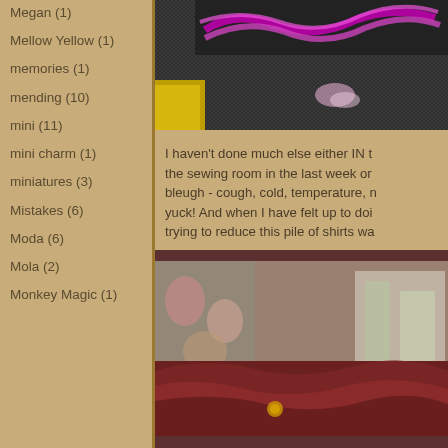Megan (1)
Mellow Yellow (1)
memories (1)
mending (10)
mini (11)
mini charm (1)
miniatures (3)
Mistakes (6)
Moda (6)
Mola (2)
Monkey Magic (1)
[Figure (photo): Close-up photo of cross-stitch or embroidery work on dark fabric with purple and yellow thread]
I haven't done much else either IN the sewing room in the last week or bleugh - cough, cold, temperature, n yuck! And when I have felt up to doi trying to reduce this pile of shirts wa
[Figure (photo): Photo of a pile of dark red/maroon shirts on a shelf or table]